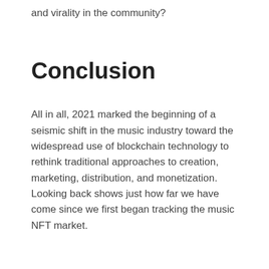and virality in the community?
Conclusion
All in all, 2021 marked the beginning of a seismic shift in the music industry toward the widespread use of blockchain technology to rethink traditional approaches to creation, marketing, distribution, and monetization. Looking back shows just how far we have come since we first began tracking the music NFT market.